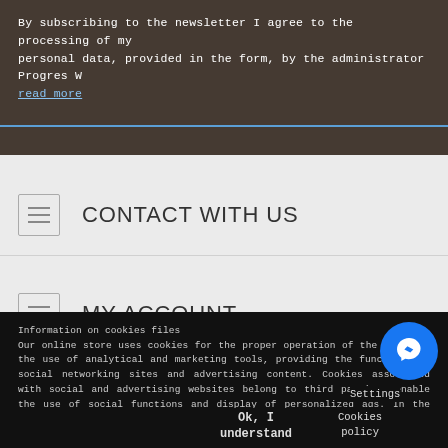By subscribing to the newsletter I agree to the processing of my personal data, provided in the form, by the administrator Progres W read more
CONTACT WITH US
MY ACCOUNT
Information on cookies files
Our online store uses cookies for the proper operation of the website, the use of analytical and marketing tools, providing the functions of social networking sites and advertising content. Cookies associated with social and advertising websites belong to third parties, enable the use of social functions and display of personalized ads. In the auxiliary browser menu you will find explanations of changing cookie settings. You can also change the cookie settings on our website by going to "Settings". Details can be found in the privacy policy, for more information. Do you agree to the use of cookies?
Ok, I understand
Cookies policy
Settings